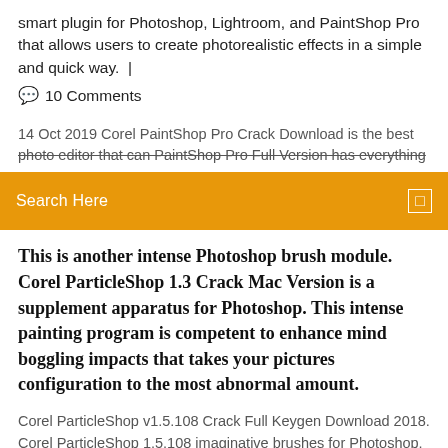smart plugin for Photoshop, Lightroom, and PaintShop Pro that allows users to create photorealistic effects in a simple and quick way.  |
💬  10 Comments
14 Oct 2019 Corel PaintShop Pro Crack Download is the best photo editor that can PaintShop Pro Full Version has everything
[Figure (screenshot): Orange search bar with 'Search Here' placeholder text and a search icon on the right]
This is another intense Photoshop brush module. Corel ParticleShop 1.3 Crack Mac Version is a supplement apparatus for Photoshop. This intense painting program is competent to enhance mind boggling impacts that takes your pictures configuration to the most abnormal amount.
Corel ParticleShop v1.5.108 Crack Full Keygen Download 2018. Corel ParticleShop 1.5.108 imaginative brushes for Photoshop, outcomes in virtually no time. No experience, modification or time-consuming learning is needed. Corel ParticleShop 1.5.108